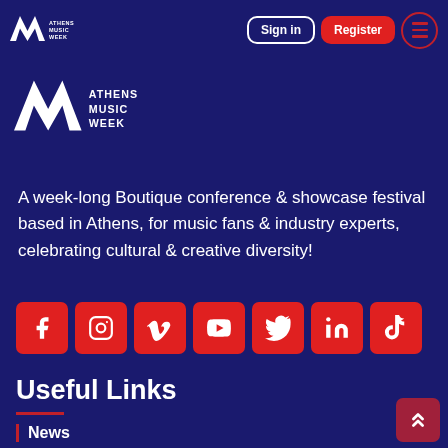Athens Music Week — navigation bar with Sign in, Register buttons and menu
[Figure (logo): Athens Music Week logo — stylized AMW monogram with text ATHENS MUSIC WEEK]
A week-long Boutique conference & showcase festival based in Athens, for music fans & industry experts, celebrating cultural & creative diversity!
[Figure (infographic): Row of 7 social media icon buttons: Facebook, Instagram, Vimeo, YouTube, Twitter, LinkedIn, TikTok — all red square buttons with white icons]
Useful Links
News